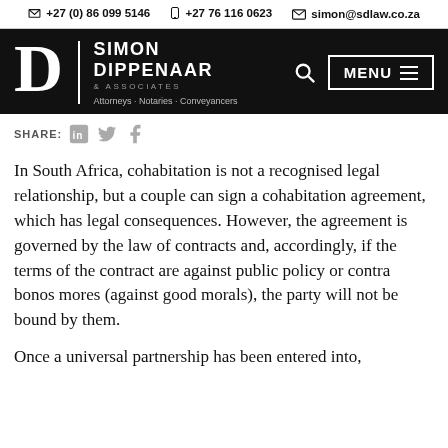+27 (0) 86 099 5146   +27 76 116 0623   simon@sdlaw.co.za
[Figure (logo): Simon Dippenaar & Associates logo with large D emblem, white text on black background. Tagline: Attorneys · Notaries · Conveyancers. Navigation bar with search icon and MENU button.]
SHARE:
In South Africa, cohabitation is not a recognised legal relationship, but a couple can sign a cohabitation agreement, which has legal consequences. However, the agreement is governed by the law of contracts and, accordingly, if the terms of the contract are against public policy or contra bonos mores (against good morals), the party will not be bound by them.
Once a universal partnership has been entered into,